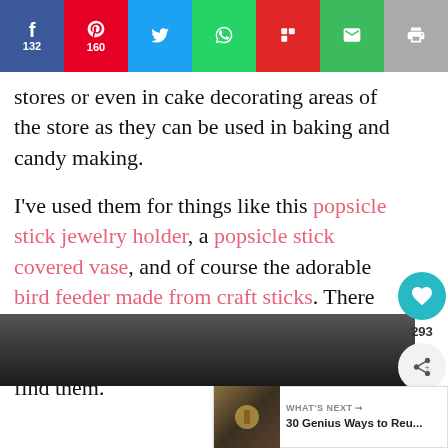[Figure (screenshot): Social media share bar with Facebook (132), Pinterest (160), Twitter, WhatsApp, Flipboard, Email, and Print buttons]
stores or even in cake decorating areas of the store as they can be used in baking and candy making.

I've used them for things like this popsicle stick jewelry holder, a popsicle stick covered vase, and of course the adorable bird feeder made from craft sticks. There are tons of ideas for using these, so make sure you grab a large package when you find them.
[Figure (screenshot): Heart/like button showing 293 likes and a share button]
[Figure (screenshot): What's Next thumbnail: 30 Genius Ways to Reu...]
[Figure (photo): Bottom portion of a blurred dark photograph]